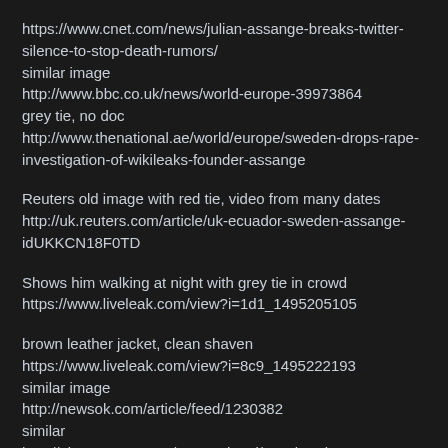https://www.cnet.com/news/julian-assange-breaks-twitter-silence-to-stop-death-rumors/
similar image
http://www.bbc.co.uk/news/world-europe-39973864
grey tie, no doc
http://www.thenational.ae/world/europe/sweden-drops-rape-investigation-of-wikileaks-founder-assange
Reuters old image with red tie, video from many dates
http://uk.reuters.com/article/uk-ecuador-sweden-assange-idUKKCN18F0TD
Shows him walking at night with grey tie in crowd
https://www.liveleak.com/view?i=1d1_1495205105
brown leather jacket, clean shaven
https://www.liveleak.com/view?i=8c9_1495222193
similar image
http://newsok.com/article/feed/1230382
similar
http://abcnews.go.com/International/sweden-drops-rape-investigation-wikileaks-head-julian-assange/sto...